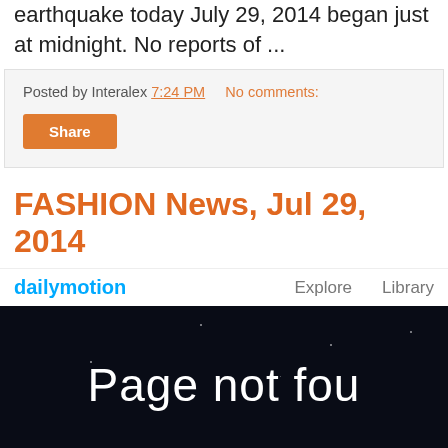earthquake today July 29, 2014 began just at midnight. No reports of ...
Posted by Interalex 7:24 PM   No comments:
Share
FASHION News, Jul 29, 2014
[Figure (screenshot): Dailymotion website header with logo, Explore and Library navigation, and a dark 'Page not found' error screen with text 'Page not found' and 'The page you're looking for is eith...']